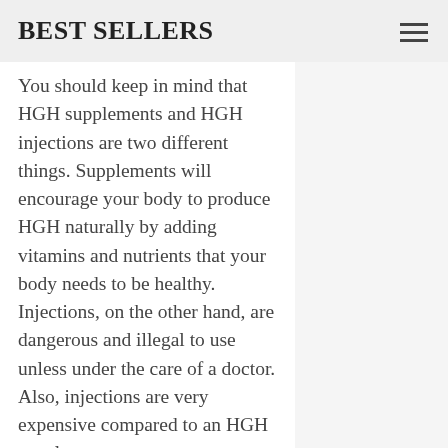BEST SELLERS
You should keep in mind that HGH supplements and HGH injections are two different things. Supplements will encourage your body to produce HGH naturally by adding vitamins and nutrients that your body needs to be healthy. Injections, on the other hand, are dangerous and illegal to use unless under the care of a doctor. Also, injections are very expensive compared to an HGH supplement.
Even though HGH injections have